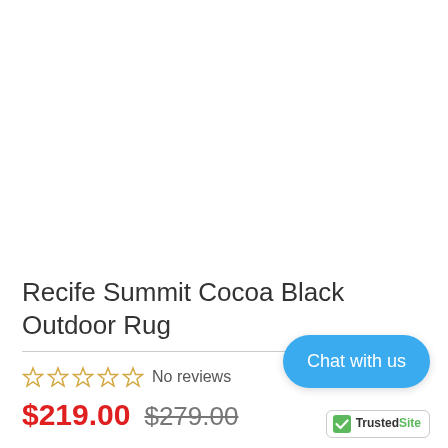Recife Summit Cocoa Black Outdoor Rug
No reviews
$219.00  $279.00